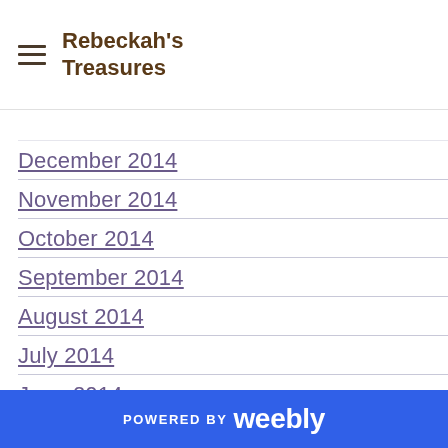Rebeckah's Treasures
December 2014
November 2014
October 2014
September 2014
August 2014
July 2014
June 2014
May 2014
April 2014
March 2014
February 2014
January 2014
POWERED BY weebly